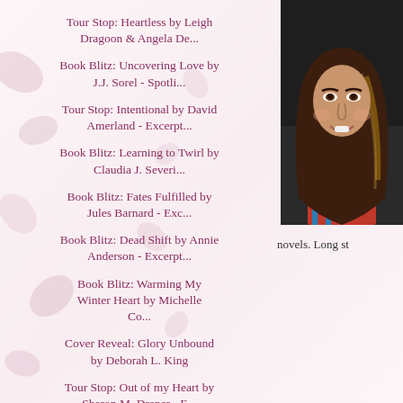Tour Stop: Heartless by Leigh Dragoon & Angela De...
Book Blitz: Uncovering Love by J.J. Sorel - Spotli...
Tour Stop: Intentional by David Amerland - Excerpt...
Book Blitz: Learning to Twirl by Claudia J. Severi...
Book Blitz: Fates Fulfilled by Jules Barnard - Exc...
Book Blitz: Dead Shift by Annie Anderson - Excerpt...
Book Blitz: Warming My Winter Heart by Michelle Co...
Cover Reveal: Glory Unbound by Deborah L. King
Tour Stop: Out of my Heart by Sharon M. Draper - E...
[Figure (photo): Portrait photo of a woman with long brown hair, smiling, taken in a car]
novels. Long st